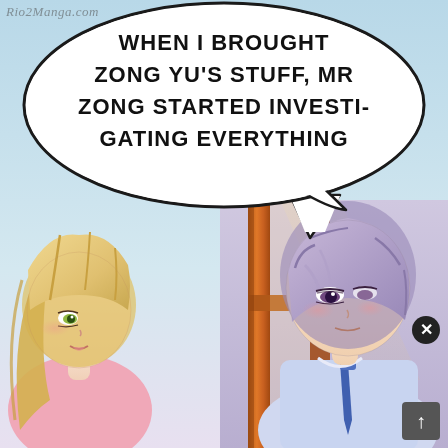[Figure (illustration): Manga/manhwa panel showing two anime-style characters in an indoor setting. On the left is a young woman with long blonde hair wearing a pink outfit, looking sideways. On the right is a young man with short lavender/purple hair wearing a light blue shirt and blue tie, with a calm/sleepy expression. Between them is a brown wooden door/window frame with sunlight. The background has soft blue and lavender tones.]
WHEN I BROUGHT ZONG YU'S STUFF, MR ZONG STARTED INVESTI-GATING EVERYTHING
Rio2Manga.com